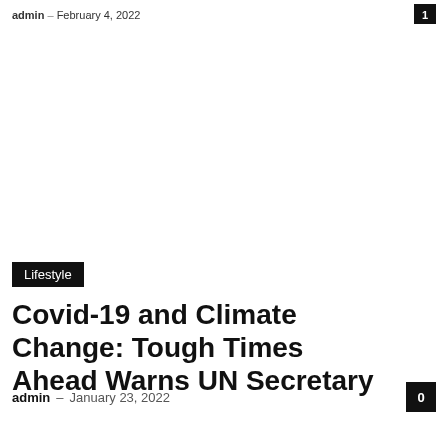admin – February 4, 2022
[Figure (photo): White/blank image placeholder area]
Lifestyle
Covid-19 and Climate Change: Tough Times Ahead Warns UN Secretary
admin – January 23, 2022